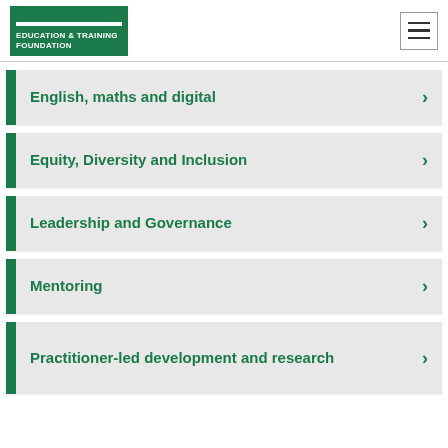Education & Training Foundation
English, maths and digital
Equity, Diversity and Inclusion
Leadership and Governance
Mentoring
Practitioner-led development and research